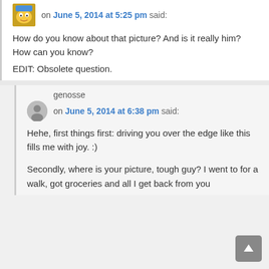on June 5, 2014 at 5:25 pm said:
How do you know about that picture? And is it really him? How can you know?
EDIT: Obsolete question.
genosse
on June 5, 2014 at 6:38 pm said:
Hehe, first things first: driving you over the edge like this fills me with joy. :)
Secondly, where is your picture, tough guy? I went to for a walk, got groceries and all I get back from you